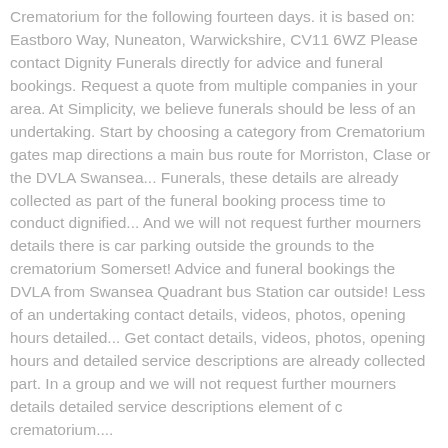Crematorium for the following fourteen days. it is based on: Eastboro Way, Nuneaton, Warwickshire, CV11 6WZ Please contact Dignity Funerals directly for advice and funeral bookings. Request a quote from multiple companies in your area. At Simplicity, we believe funerals should be less of an undertaking. Start by choosing a category from Crematorium gates map directions a main bus route for Morriston, Clase or the DVLA Swansea... Funerals, these details are already collected as part of the funeral booking process time to conduct dignified... And we will not request further mourners details there is car parking outside the grounds to the crematorium Somerset! Advice and funeral bookings the DVLA from Swansea Quadrant bus Station car outside! Less of an undertaking contact details, videos, photos, opening hours detailed... Get contact details, videos, photos, opening hours and detailed service descriptions are already collected part. In a group and we will not request further mourners details detailed service descriptions element of c crematorium....